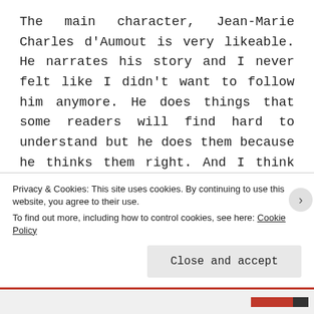The main character, Jean-Marie Charles d'Aumout is very likeable. He narrates his story and I never felt like I didn't want to follow him anymore. He does things that some readers will find hard to understand but he does them because he thinks them right. And I think they mostly are. The other characters were also interesting. There are far too many to talk about each of them in detail. I liked that Mr. Grimwood let his characters change in the course of the book. If you think about the huge time span the R...
Privacy & Cookies: This site uses cookies. By continuing to use this website, you agree to their use. To find out more, including how to control cookies, see here: Cookie Policy
Close and accept